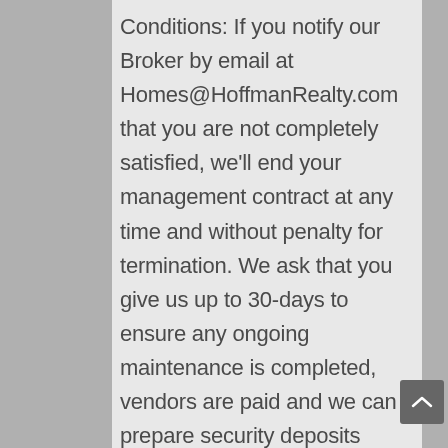Conditions: If you notify our Broker by email at Homes@HoffmanRealty.com that you are not completely satisfied, we'll end your management contract at any time and without penalty for termination. We ask that you give us up to 30-days to ensure any ongoing maintenance is completed, vendors are paid and we can prepare security deposits and a full management files